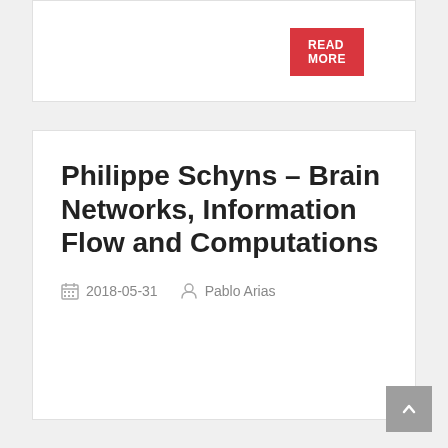[Figure (screenshot): READ MORE button in red at top right of a card]
Philippe Schyns – Brain Networks, Information Flow and Computations
2018-05-31   Pablo Arias